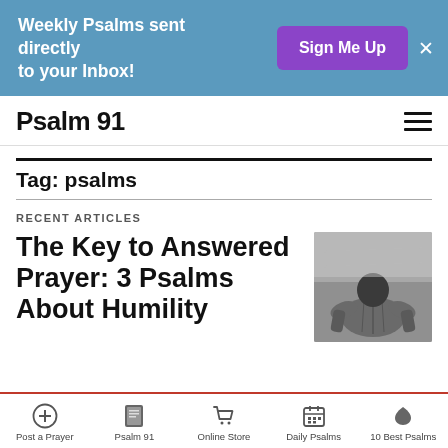Weekly Psalms sent directly to your Inbox! Sign Me Up
Psalm 91
Tag: psalms
RECENT ARTICLES
The Key to Answered Prayer: 3 Psalms About Humility
[Figure (photo): Grayscale photo of a man bowing his head in prayer, viewed from behind, wearing a cardigan]
Post a Prayer | Psalm 91 | Online Store | Daily Psalms | 10 Best Psalms